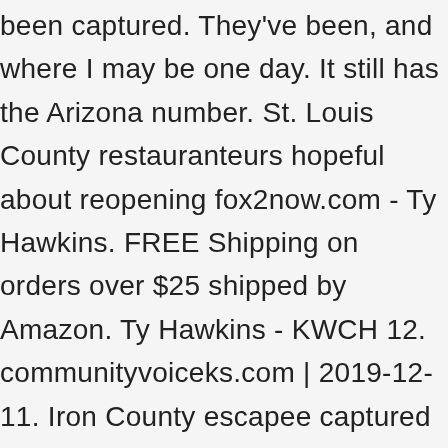been captured. They've been, and where I may be one day. It still has the Arizona number. St. Louis County restauranteurs hopeful about reopening fox2now.com - Ty Hawkins. FREE Shipping on orders over $25 shipped by Amazon. Ty Hawkins - KWCH 12. communityvoiceks.com | 2019-12-11. Iron County escapee captured in New Mexico; search continues for two still at-large, 'I never thought that I would be considered non-essential' – 43-year old's dying words, Off by one number: Missouri girl inundated with phone calls, messages from Arizonans looking for COVID vaccine, St. Louis to receive 3,900 doses of COVID vaccine; officials in talks for mass vaccination site, Urban League to distribute 10 million masks to fight war against COVID, CDC recommends against getting other vaccines close to when you get the COVID vaccine, Tax